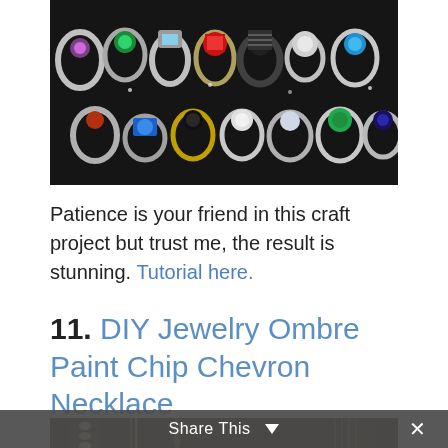[Figure (photo): Close-up photo of many decorative rings with colorful gemstones (green, red, blue, black, turquoise, yellow) on a black background]
Patience is your friend in this craft project but trust me, the result is stunning. Tutorial here.
11. DIY Jewelry Ombre Paint Chip Chevron Necklace
[Figure (photo): Close-up photo of gold and silver chain necklaces on a dark background]
Share This ∨  ×